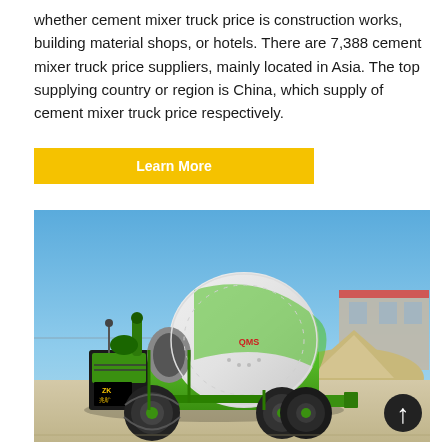whether cement mixer truck price is construction works, building material shops, or hotels. There are 7,388 cement mixer truck price suppliers, mainly located in Asia. The top supplying country or region is China, which supply of cement mixer truck price respectively.
Learn More
[Figure (photo): A green self-loading cement mixer truck (branded ZK) photographed outdoors on a construction site with a blue sky background and a pile of sand/gravel. The mixer drum is white with green accents.]